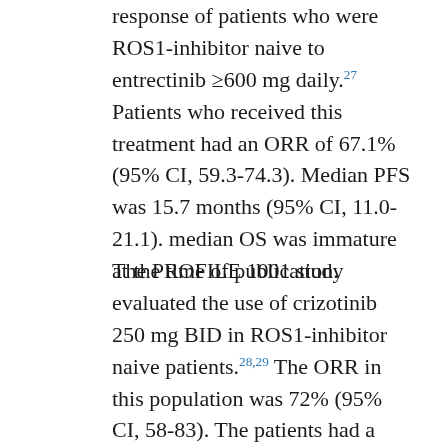response of patients who were ROS1-inhibitor naive to entrectinib ≥600 mg daily.27 Patients who received this treatment had an ORR of 67.1% (95% CI, 59.3-74.3). Median PFS was 15.7 months (95% CI, 11.0-21.1). median OS was immature at the time of publication.
The PROFILE 1001 study evaluated the use of crizotinib 250 mg BID in ROS1-inhibitor naive patients.28,29 The ORR in this population was 72% (95% CI, 58-83). The patients had a 19.3 month (95% CI, 15.2-39.1) median PFS and median OS of 51.4 months (29.3-NR). Grade 3 adverse effects were experienced by 36% of those patients